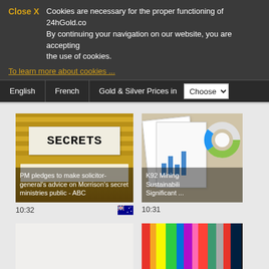Close X  Cookies are necessary for the proper functioning of 24hGold.com. By continuing your navigation on our website, you are accepting the use of cookies. To learn more about cookies ...
English  French  Gold & Silver Prices in  Choose
[Figure (photo): File folder with a white label reading SECRETS in typewriter font, overlaid with article headline: PM pledges to make solicitor-general's advice on Morrison's secret ministries public - ABC]
10:32
[Figure (photo): Pie/donut chart and bar chart documents on a desk, partially visible, with overlay text: K92 Mining Sustainability Significant ...]
10:31
[Figure (photo): Blank/loading image placeholder]
[Figure (photo): Colorful book spines, partially visible]